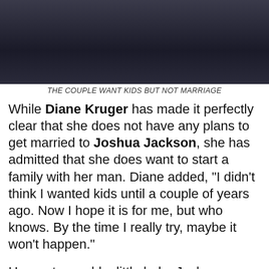[Figure (photo): Photo of a person (presumably Diane Kruger or Joshua Jackson) in a dark outfit outdoors, cropped at the top of the page.]
THE COUPLE WANT KIDS BUT NOT MARRIAGE
While Diane Kruger has made it perfectly clear that she does not have any plans to get married to Joshua Jackson, she has admitted that she does want to start a family with her man. Diane added, "I didn't think I wanted kids until a couple of years ago. Now I hope it is for me, but who knows. By the time I really try, maybe it won't happen."
How cute would a little baby Jackson-Kruger be? Or would it be Kruger-Jackson? Who knows?